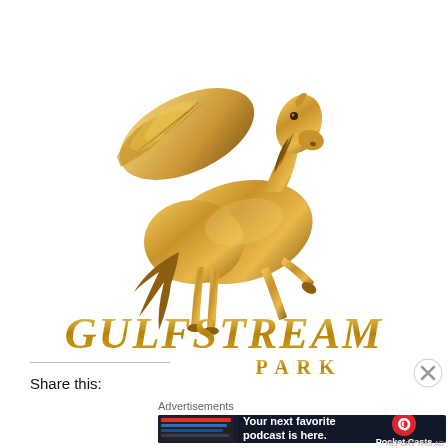[Figure (logo): Gulfstream Park logo featuring a golden Pegasus (winged horse) rearing up, with the text 'GULFSTREAM PARK' in gold lettering below]
Share this:
Advertisements
[Figure (screenshot): Pocket Casts advertisement banner with dark background: phone screenshot on left, text 'Your next favorite podcast is here.' in center, Pocket Casts red logo and name on right]